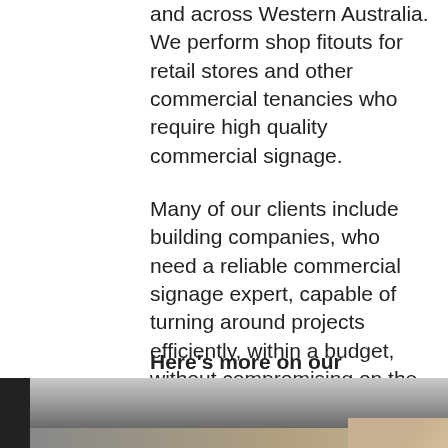and across Western Australia. We perform shop fitouts for retail stores and other commercial tenancies who require high quality commercial signage.
Many of our clients include building companies, who need a reliable commercial signage expert, capable of turning around projects efficiently, within a budget, without compromising on the quality of work.
Here's more on our commercial signage solutions.
[Figure (photo): Dark angled surface/sign panel photographed from below or at an angle, with a wooden or light-coloured material visible at the bottom right corner]